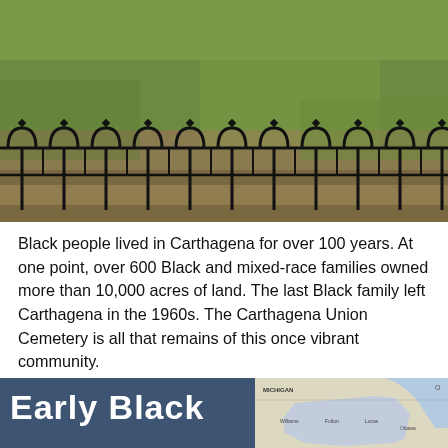[Figure (photo): Photograph of a black wrought-iron decorative cemetery fence with arched tops and diamond finials, in front of a green grass lawn area.]
Black people lived in Carthagena for over 100 years. At one point, over 600 Black and mixed-race families owned more than 10,000 acres of land. The last Black family left Carthagena in the 1960s. The Carthagena Union Cemetery is all that remains of this once vibrant community.
[Figure (infographic): Bottom banner with dark blue background on the left showing partial title text 'Early Black' in large white bold font, and a map on the right showing Michigan and Ohio/surrounding states region.]